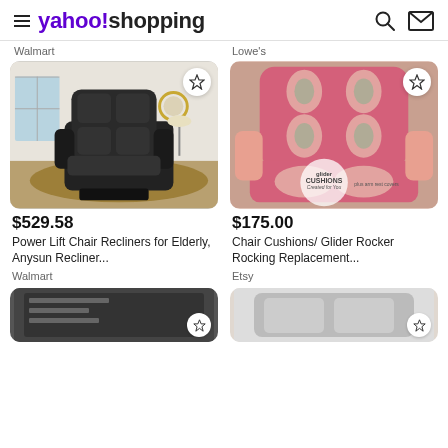yahoo!shopping
Walmart
Lowe's
[Figure (photo): Black leather power lift recliner chair in a living room setting]
[Figure (photo): Pink and grey patterned glider rocker chair cushions with armrest covers]
$529.58
$175.00
Power Lift Chair Recliners for Elderly, Anysun Recliner...
Chair Cushions/ Glider Rocker Rocking Replacement...
Walmart
Etsy
[Figure (photo): Partial view of a dark product at bottom left]
[Figure (photo): Partial view of a product at bottom right]